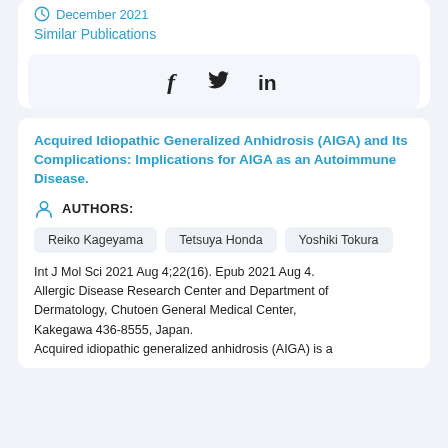December 2021
Similar Publications
[Figure (other): Social share icons: Facebook (f), Twitter (bird), LinkedIn (in)]
Acquired Idiopathic Generalized Anhidrosis (AIGA) and Its Complications: Implications for AIGA as an Autoimmune Disease.
AUTHORS:
Reiko Kageyama
Tetsuya Honda
Yoshiki Tokura
Int J Mol Sci 2021 Aug 4;22(16). Epub 2021 Aug 4. Allergic Disease Research Center and Department of Dermatology, Chutoen General Medical Center, Kakegawa 436-8555, Japan. Acquired idiopathic generalized anhidrosis (AIGA) is a